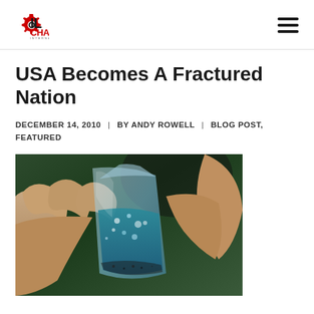Oil Change International
USA Becomes A Fractured Nation
DECEMBER 14, 2010  |  BY ANDY ROWELL  |  BLOG POST, FEATURED
[Figure (photo): Close-up photograph of a person's hand holding a glass container with blue liquid and bubbles, related to hydraulic fracturing (fracking)]